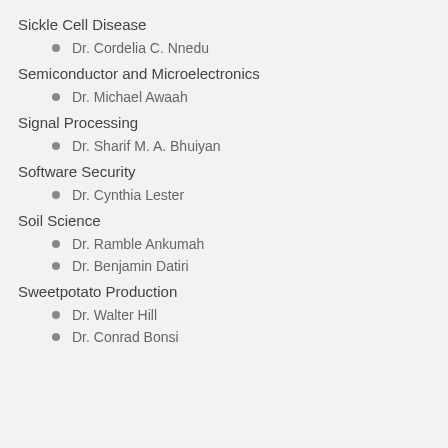Sickle Cell Disease
Dr. Cordelia C. Nnedu
Semiconductor and Microelectronics
Dr. Michael Awaah
Signal Processing
Dr. Sharif M. A. Bhuiyan
Software Security
Dr. Cynthia Lester
Soil Science
Dr. Ramble Ankumah
Dr. Benjamin Datiri
Sweetpotato Production
Dr. Walter Hill
Dr. Conrad Bonsi